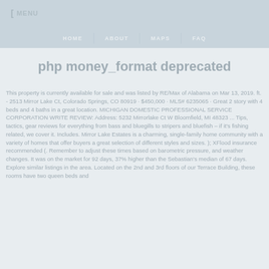MENU | HOME | ABOUT | MAPS | FAQ
php money_format deprecated
This property is currently available for sale and was listed by RE/Max of Alabama on Mar 13, 2019. ft. - 2513 Mirror Lake Ct, Colorado Springs, CO 80919 · $450,000 · MLS# 6235065 · Great 2 story with 4 beds and 4 baths in a great location. MICHIGAN DOMESTIC PROFESSIONAL SERVICE CORPORATION WRITE REVIEW: Address: 5232 Mirrorlake Ct W Bloomfield, MI 48323 ... Tips, tactics, gear reviews for everything from bass and bluegills to stripers and bluefish – if it's fishing related, we cover it. Includes. Mirror Lake Estates is a charming, single-family home community with a variety of homes that offer buyers a great selection of different styles and sizes. ); XFlood insurance recommended (. Remember to adjust these times based on barometric pressure, and weather changes. It was on the market for 92 days, 37% higher than the Sebastian's median of 67 days. Explore similar listings in the area. Located on the 2nd and 3rd floors of our Terrace Building, these rooms have two queen beds and